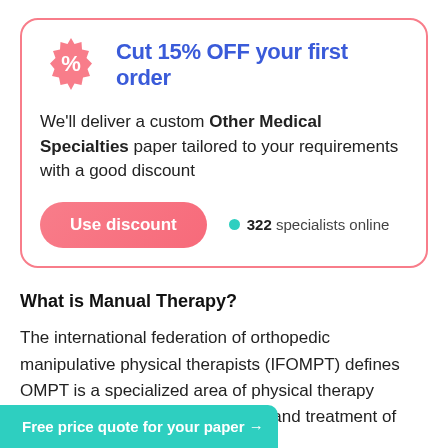[Figure (infographic): Promotional card with a pink badge percent icon, blue bold heading 'Cut 15% OFF your first order', descriptive text about custom Other Medical Specialties paper, a pink 'Use discount' button, and '322 specialists online' indicator with a green dot.]
What is Manual Therapy?
The international federation of orthopedic manipulative physical therapists (IFOMPT) defines OMPT is a specialized area of physical therapy implemented in the management and treatment of various neurological and [ing specific manual